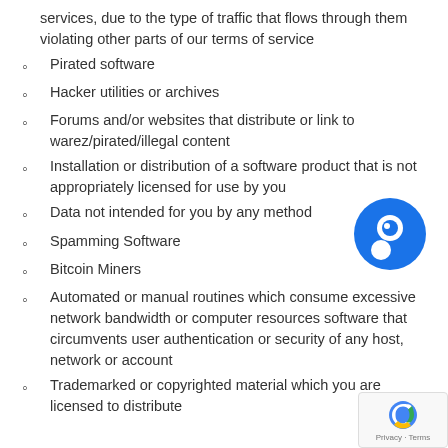services, due to the type of traffic that flows through them violating other parts of our terms of service
Pirated software
Hacker utilities or archives
Forums and/or websites that distribute or link to warez/pirated/illegal content
Installation or distribution of a software product that is not appropriately licensed for use by you
Data not intended for you by any method
Spamming Software
Bitcoin Miners
Automated or manual routines which consume excessive network bandwidth or computer resources software that circumvents user authentication or security of any host, network or account
Trademarked or copyrighted material which you are licensed to distribute